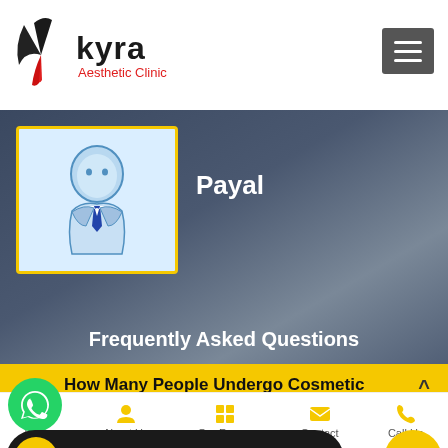[Figure (logo): Kyra Aesthetic Clinic logo with bird icon]
[Figure (screenshot): Hamburger menu icon button]
[Figure (illustration): Dark blue-grey hero background section with user avatar placeholder]
Payal
Frequently Asked Questions
How Many People Undergo Cosmetic Surgery a Year?
ical and nonsurgical the United Sta 2010, according to the American Society of Plas
[Figure (illustration): WhatsApp green circle button with phone icon]
[Figure (illustration): Book an Appointment dark banner with yellow envelope icon]
[Figure (illustration): Yellow circle up-arrow button]
Home   About Us   Our Range   Contact   Call Us